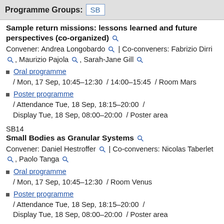Programme Groups: SB
Sample return missions: lessons learned and future perspectives (co-organized)
Convener: Andrea Longobardo | Co-conveners: Fabrizio Dirri, Maurizio Pajola, Sarah-Jane Gill
Oral programme / Mon, 17 Sep, 10:45–12:30  / 14:00–15:45  / Room Mars
Poster programme / Attendance Tue, 18 Sep, 18:15–20:00  / Display Tue, 18 Sep, 08:00–20:00  / Poster area
SB14
Small Bodies as Granular Systems
Convener: Daniel Hestroffer | Co-conveners: Nicolas Taberlet, Paolo Tanga
Oral programme / Mon, 17 Sep, 10:45–12:30  / Room Venus
Poster programme / Attendance Tue, 18 Sep, 18:15–20:00  / Display Tue, 18 Sep, 08:00–20:00  / Poster area
SB15